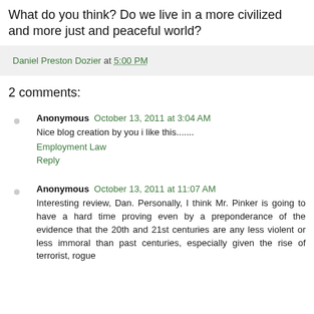What do you think? Do we live in a more civilized and more just and peaceful world?
Daniel Preston Dozier at 5:00 PM
2 comments:
Anonymous  October 13, 2011 at 3:04 AM
Nice blog creation by you i like this.......
Employment Law
Reply
Anonymous  October 13, 2011 at 11:07 AM
Interesting review, Dan. Personally, I think Mr. Pinker is going to have a hard time proving even by a preponderance of the evidence that the 20th and 21st centuries are any less violent or less immoral than past centuries, especially given the rise of terrorist, rogue